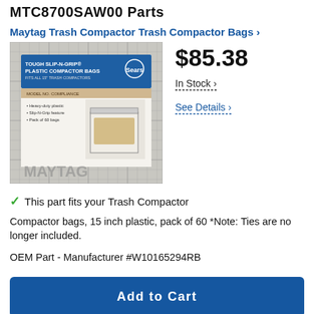MTC8700SAW00 Parts
Maytag Trash Compactor Trash Compactor Bags ›
[Figure (photo): Product photo of Maytag Tough Slip-N-Grip Plastic Compactor Bags box, shown on a gray plaid grid background. The box is white with a blue label reading 'TOUGH SLIP-N-GRIP PLASTIC COMPACTOR BAGS' with a Sears logo, and an illustration of a trash compactor with bags inside. The word MAYTAG appears at the bottom of the image.]
$85.38
In Stock ›
See Details ›
✓ This part fits your Trash Compactor
Compactor bags, 15 inch plastic, pack of 60 *Note: Ties are no longer included.
OEM Part - Manufacturer #W10165294RB
Add to Cart